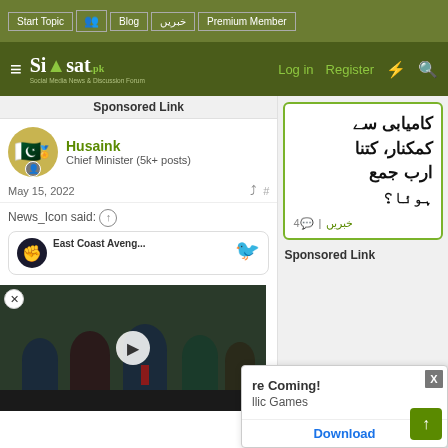Start Topic | Blog | خبریں | Premium Member | Log in | Register
[Figure (logo): Siasat.pk logo - Social Media News & Discussion Forum]
Sponsored Link
[Figure (illustration): User avatar with Pakistan flag icon and user badge]
Husaink
Chief Minister (5k+ posts)
May 15, 2022
News_Icon said:
[Figure (screenshot): Twitter embed showing East Coast Aveng... tweet with Twitter bird icon]
[Figure (photo): Video thumbnail showing people in what appears to be a parliamentary setting, with a play button overlay]
[Figure (screenshot): Urdu text card with green border: کامیابی سے کمکنار، کتنا ارب جمع ہوئا؟ with comment count 4 and خبریں label]
Sponsored Link
[Figure (screenshot): Ad popup: 're Coming! llic Games Download button, with X close button]